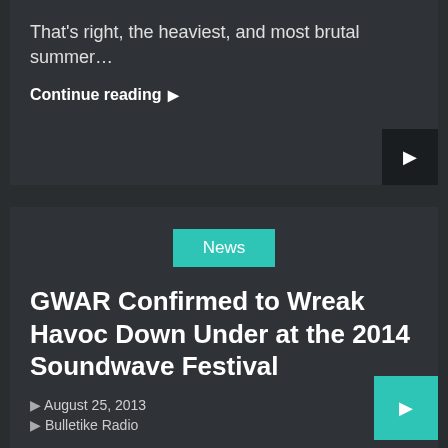That's right, the heaviest, and most brutal summer…
Continue reading →
News
GWAR Confirmed to Wreak Havoc Down Under at the 2014 Soundwave Festival
August 25, 2013
Bulletike Radio